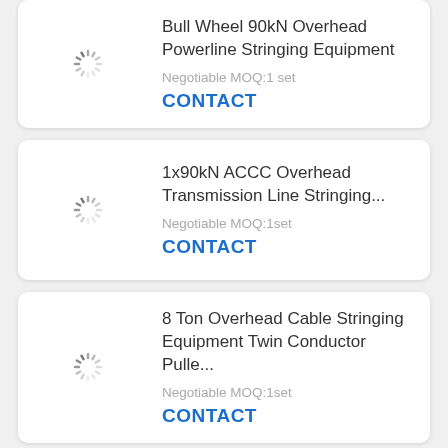[Figure (other): Loading spinner icon (placeholder for product image)]
Bull Wheel 90kN Overhead Powerline Stringing Equipment
Negotiable MOQ:1 set
CONTACT
[Figure (other): Loading spinner icon (placeholder for product image)]
1x90kN ACCC Overhead Transmission Line Stringing...
Negotiable MOQ:1set
CONTACT
[Figure (other): Loading spinner icon (placeholder for product image)]
8 Ton Overhead Cable Stringing Equipment Twin Conductor Pulle...
Negotiable MOQ:1set
CONTACT